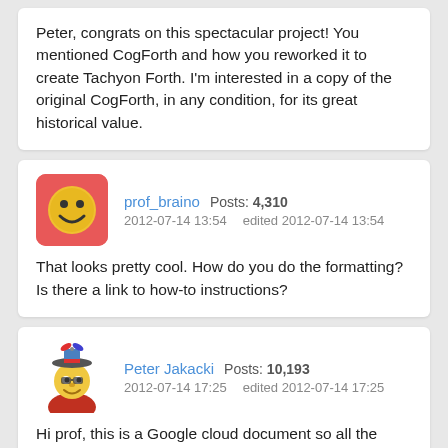Peter, congrats on this spectacular project! You mentioned CogForth and how you reworked it to create Tachyon Forth. I'm interested in a copy of the original CogForth, in any condition, for its great historical value.
prof_braino   Posts: 4,310
2012-07-14 13:54   edited 2012-07-14 13:54
That looks pretty cool. How do you do the formatting? Is there a link to how-to instructions?
Peter Jakacki   Posts: 10,193
2012-07-14 17:25   edited 2012-07-14 17:25
Hi prof, this is a Google cloud document so all the normal editing tools are there online when you are signed in and you have permission to edit. For some reason some may not be able to access this document although I had no